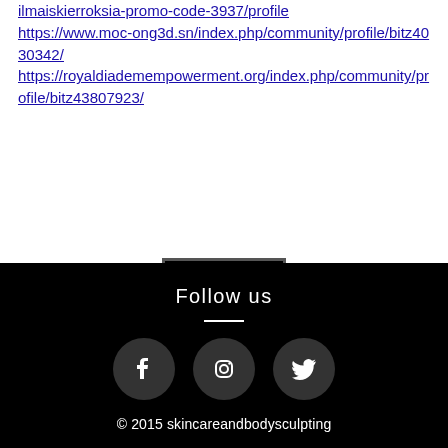ilmaiskierroksia-promo-code-3937/profile https://www.moc-ong3d.sn/index.php/community/profile/bitz4030342/ https://royaldiademempowerment.org/index.php/community/profile/bitz43807923/
[Figure (other): Back to Top button: black square with a rose/copper colored upward chevron icon, with text 'Back to Top' below]
Follow us © 2015 skincareandbodysculpting